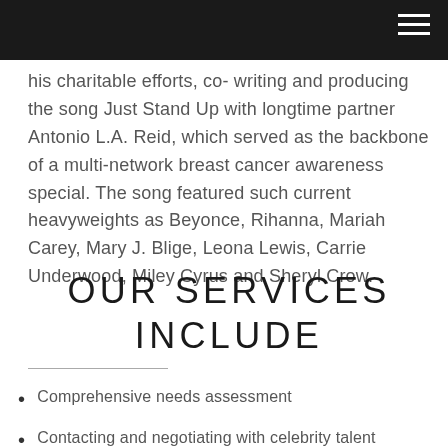his charitable efforts, co- writing and producing the song Just Stand Up with longtime partner Antonio L.A. Reid, which served as the backbone of a multi-network breast cancer awareness special. The song featured such current heavyweights as Beyonce, Rihanna, Mariah Carey, Mary J. Blige, Leona Lewis, Carrie Underwood, Miley Cyrus and Sheryl Crow.
OUR SERVICES INCLUDE
Comprehensive needs assessment
Contacting and negotiating with celebrity talent